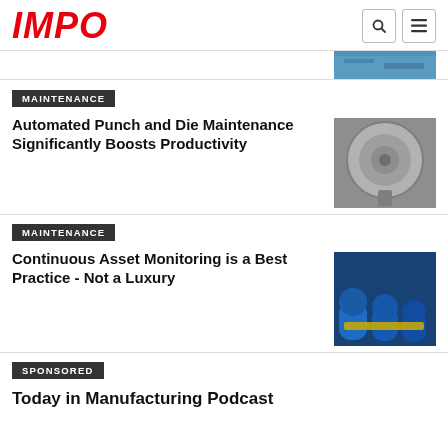IMPO
[Figure (photo): Partial top image (cropped), industrial blue equipment]
MAINTENANCE
Automated Punch and Die Maintenance Significantly Boosts Productivity
[Figure (photo): Black and white photo of a punch and die mechanical component]
MAINTENANCE
Continuous Asset Monitoring is a Best Practice - Not a Luxury
[Figure (photo): Photo of blue industrial pumps/motors in a facility]
SPONSORED
Today in Manufacturing Podcast